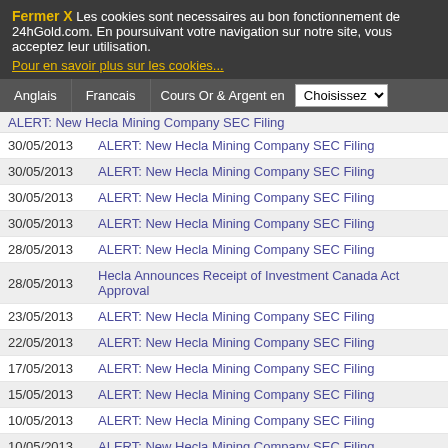Fermer X  Les cookies sont necessaires au bon fonctionnement de 24hGold.com. En poursuivant votre navigation sur notre site, vous acceptez leur utilisation.
Pour en savoir plus sur les cookies...
Anglais | Francais | Cours Or & Argent en | Choisissez
| Date | Title |
| --- | --- |
| 30/05/2013 | ALERT: New Hecla Mining Company SEC Filing |
| 30/05/2013 | ALERT: New Hecla Mining Company SEC Filing |
| 30/05/2013 | ALERT: New Hecla Mining Company SEC Filing |
| 30/05/2013 | ALERT: New Hecla Mining Company SEC Filing |
| 28/05/2013 | ALERT: New Hecla Mining Company SEC Filing |
| 28/05/2013 | Hecla Announces Receipt of Investment Canada Act Approval |
| 23/05/2013 | ALERT: New Hecla Mining Company SEC Filing |
| 22/05/2013 | ALERT: New Hecla Mining Company SEC Filing |
| 17/05/2013 | ALERT: New Hecla Mining Company SEC Filing |
| 15/05/2013 | ALERT: New Hecla Mining Company SEC Filing |
| 10/05/2013 | ALERT: New Hecla Mining Company SEC Filing |
| 10/05/2013 | ALERT: New Hecla Mining Company SEC Filing |
| 09/05/2013 | ALERT: New Hecla Mining Company SEC Filing |
| 06/05/2013 | ALERT: New Hecla Mining Company SEC Filing |
| 23/04/2013 | ALERT: New Hecla Mining Company SEC Filing |